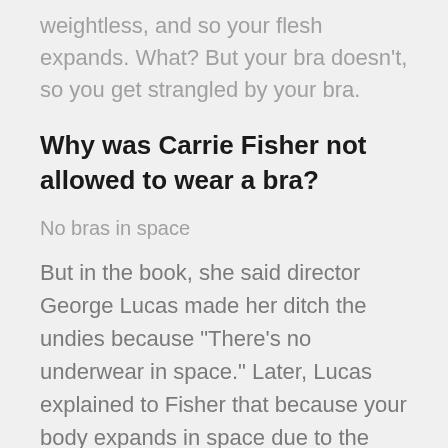weightless, and so your flesh expands. What? But your bra doesn't, so you get strangled by your bra.
Why was Carrie Fisher not allowed to wear a bra?
No bras in space
But in the book, she said director George Lucas made her ditch the undies because “There’s no underwear in space.” Later, Lucas explained to Fisher that because your body expands in space due to the lack of gravity, your bra might actually strangle you.